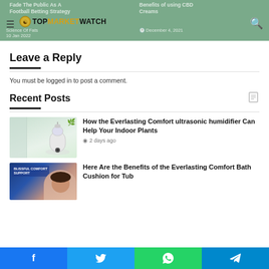TopMarketWatch header with logo and navigation
Leave a Reply
You must be logged in to post a comment.
Recent Posts
[Figure (photo): White ultrasonic humidifier on a light background with greenery]
How the Everlasting Comfort ultrasonic humidifier Can Help Your Indoor Plants
2 days ago
[Figure (photo): Woman resting with blissful comfort support text overlay in blue]
Here Are the Benefits of the Everlasting Comfort Bath Cushion for Tub
Facebook Twitter WhatsApp Telegram social share bar